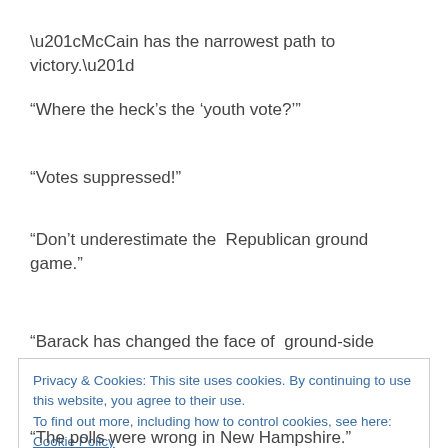“McCain has the narrowest path to victory.”
“Where the heck’s the ‘youth vote?’”
“Votes suppressed!”
“Don’t underestimate the Republican ground game.”
“Barack has changed the face of ground-side
Privacy & Cookies: This site uses cookies. By continuing to use this website, you agree to their use.
To find out more, including how to control cookies, see here: Cookie Policy
“The polls were wrong in New Hampshire.”